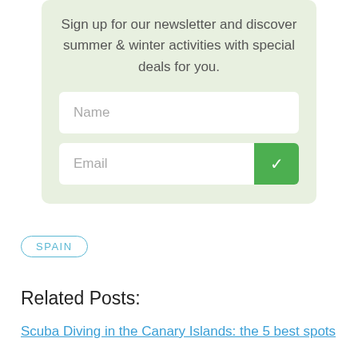Sign up for our newsletter and discover summer & winter activities with special deals for you.
[Figure (screenshot): Newsletter signup form with Name input field and Email input field with green checkmark submit button]
SPAIN
Related Posts:
Scuba Diving in the Canary Islands: the 5 best spots